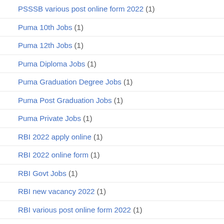PSSSB various post online form 2022 (1)
Puma 10th Jobs (1)
Puma 12th Jobs (1)
Puma Diploma Jobs (1)
Puma Graduation Degree Jobs (1)
Puma Post Graduation Jobs (1)
Puma Private Jobs (1)
RBI 2022 apply online (1)
RBI 2022 online form (1)
RBI Govt Jobs (1)
RBI new vacancy 2022 (1)
RBI various post online form 2022 (1)
Rifles Regimental 2022 apply online (1)
Rifles Regimental Govt Jobs (1)
Rifles Regimental 2022 online form (1)
Rifles Regimental new vacancy 2022 (1)